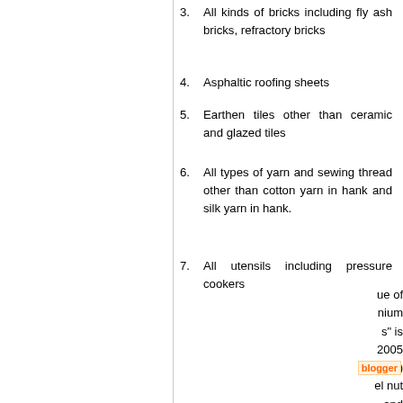3.   All kinds of bricks including fly ash bricks, refractory bricks
4.   Asphaltic roofing sheets
5.   Earthen tiles other than ceramic and glazed tiles
6.   All types of yarn and sewing thread other than cotton yarn in hank and silk yarn in hank.
7.   All utensils including pressure cookers
[Figure (infographic): Email subscription popup overlay with Gmail icon input field, purple Subscribe button, and green bold text 'Subscribe by Email Get Free Updates' and 'Don't Forget To Join US Our Community']
nium s" is 2005 05.) el nut and ( Ani with